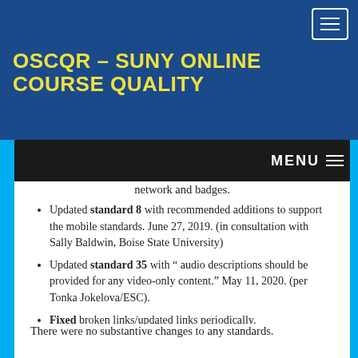OSCQR – SUNY ONLINE COURSE QUALITY REVIEW RUBRIC
network and badges.
Updated standard 8 with recommended additions to support the mobile standards. June 27, 2019. (in consultation with Sally Baldwin, Boise State University)
Updated standard 35 with “ audio descriptions should be provided for any video-only content.” May 11, 2020. (per Tonka Jokelova/ESC).
Fixed broken links/updated links periodically.
There were no substantive changes to any standards.